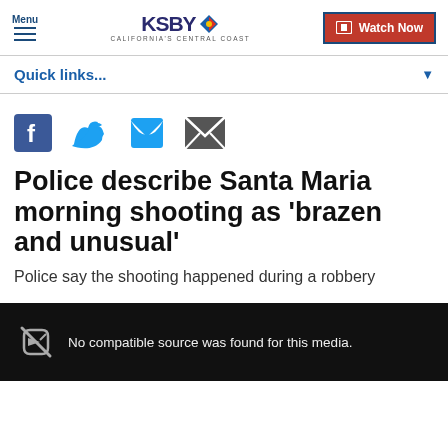Menu | KSBY California's Central Coast | Watch Now
Quick links...
[Figure (other): Social share icons: Facebook, Twitter, Email]
Police describe Santa Maria morning shooting as 'brazen and unusual'
Police say the shooting happened during a robbery
[Figure (other): Media player placeholder: No compatible source was found for this media.]